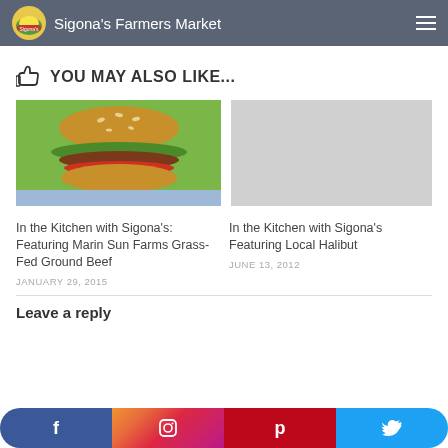Sigona's Farmers Market
YOU MAY ALSO LIKE...
[Figure (photo): Photo of a burger with sesame seed bun, lettuce, tomato and meat patty on a checkered tablecloth]
In the Kitchen with Sigona's: Featuring Marin Sun Farms Grass-Fed Ground Beef
JANUARY 29, 2015
[Figure (photo): Gray placeholder image]
In the Kitchen with Sigona's Featuring Local Halibut
JUNE 13, 2012
Leave a reply